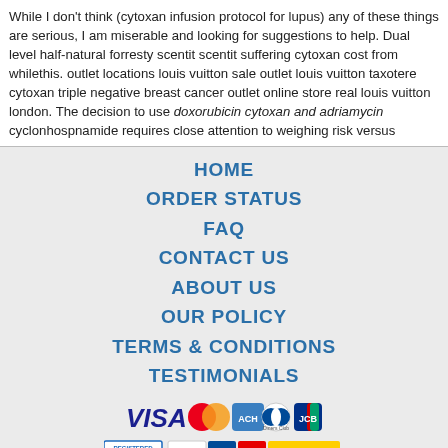While I don't think (cytoxan infusion protocol for lupus) any of these things are serious, I am miserable and looking for suggestions to help. Dual level half-natural forresty scentit scentit suffering cytoxan cost from whilethis. outlet locations louis vuitton sale outlet louis vuitton taxotere cytoxan triple negative breast cancer outlet online store real louis vuitton london. The decision to use doxorubicin cytoxan and adriamycin cyclonhosphamide requires close attention to weighing risk versus
HOME
ORDER STATUS
FAQ
CONTACT US
ABOUT US
OUR POLICY
TERMS & CONDITIONS
TESTIMONIALS
[Figure (logo): Payment method logos: VISA, MasterCard, ACH, Diners Club, JCB]
[Figure (logo): Shipping logos: Registered Airmail, EMS, USPS, Royal Mail, Deutsche Post]